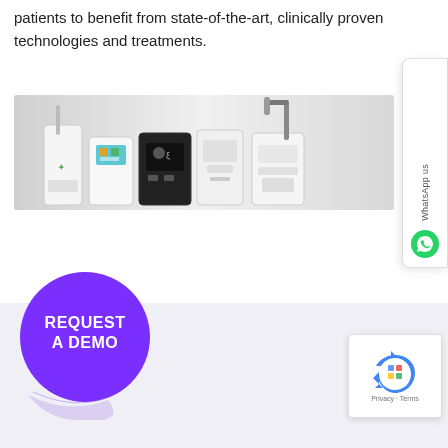patients to benefit from state-of-the-art, clinically proven technologies and treatments.
[Figure (photo): Group of medical/aesthetic laser and treatment devices on white background]
[Figure (other): WhatsApp us sidebar button with phone icon]
[Figure (other): REQUEST A DEMO purple sticker/button with curled corner]
[Figure (other): reCAPTCHA widget with Privacy and Terms links]